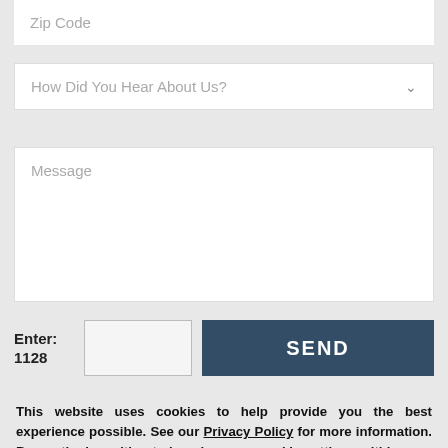Zip Code
How Did You Hear About Us?
Message
Enter: 1128
SEND
This website uses cookies to help provide you the best experience possible. See our Privacy Policy for more information. By continuing without changing your cookie settings within your browser, you are agreeing to our use of cookies.
ACCEPT